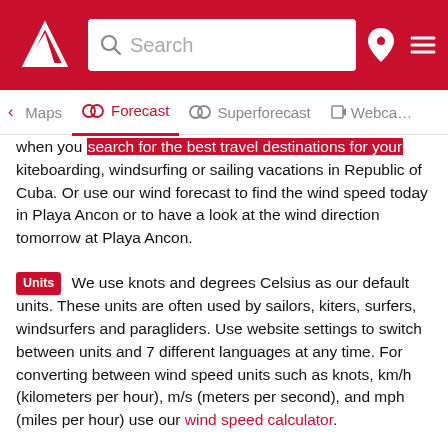Search | Maps | Forecast | Superforecast | Webcam
when you search for the best travel destinations for your kiteboarding, windsurfing or sailing vacations in Republic of Cuba. Or use our wind forecast to find the wind speed today in Playa Ancon or to have a look at the wind direction tomorrow at Playa Ancon.
Units  We use knots and degrees Celsius as our default units. These units are often used by sailors, kiters, surfers, windsurfers and paragliders. Use website settings to switch between units and 7 different languages at any time. For converting between wind speed units such as knots, km/h (kilometers per hour), m/s (meters per second), and mph (miles per hour) use our wind speed calculator.
Help  If you need more information about our wind forecast for Playa Ancon, have a look at our help section.